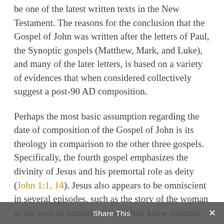be one of the latest written texts in the New Testament. The reasons for the conclusion that the Gospel of John was written after the letters of Paul, the Synoptic gospels (Matthew, Mark, and Luke), and many of the later letters, is based on a variety of evidences that when considered collectively suggest a post-90 AD composition.
Perhaps the most basic assumption regarding the date of composition of the Gospel of John is its theology in comparison to the other three gospels. Specifically, the fourth gospel emphasizes the divinity of Jesus and his premortal role as deity (John 1:1, 14). Jesus also appears to be omniscient in several episodes, such as the story of the woman at the well in Samaria, when Jesus knew intimate details
Share This ×